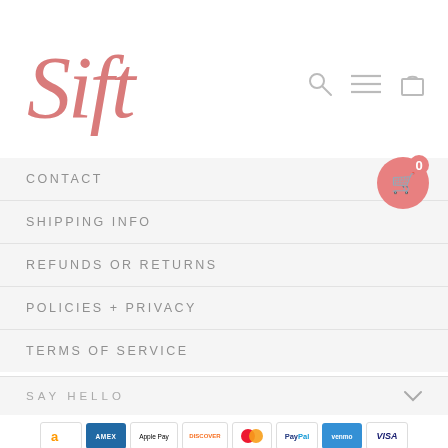[Figure (logo): Sift script logo in pink/salmon color]
CONTACT
SHIPPING INFO
REFUNDS OR RETURNS
POLICIES + PRIVACY
TERMS OF SERVICE
SAY HELLO
[Figure (other): Payment method icons: Amazon, Amex, Apple Pay, Discover, Mastercard, PayPal, Venmo, Visa]